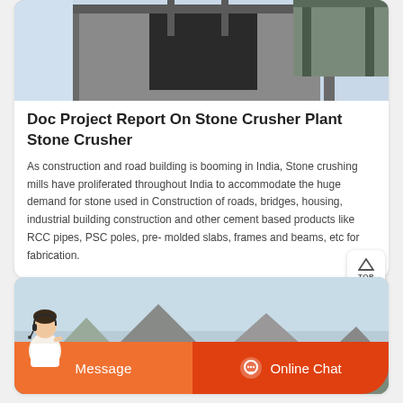[Figure (photo): Industrial stone crusher plant machinery, metal structure with conveyor system, outdoor industrial facility]
Doc Project Report On Stone Crusher Plant Stone Crusher
As construction and road building is booming in India, Stone crushing mills have proliferated throughout India to accommodate the huge demand for stone used in Construction of roads, bridges, housing, industrial building construction and other cement based products like RCC pipes, PSC poles, pre- molded slabs, frames and beams, etc for fabrication.
[Figure (photo): Mountain landscape background photo for second card section]
Message
Online Chat